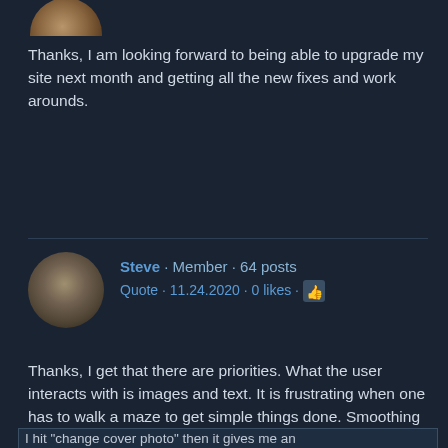[Figure (photo): Partial circular avatar image visible at top, showing a person/nature photo]
Thanks, I am looking forward to being able to upgrade my site next month and getting all the new fixes and work arounds.
Steve · Member · 64 posts
Quote · 11.24.2020 · 0 likes · 👍
[Figure (photo): Circular avatar of a soldier/knight figure]
Thanks, I get that there are priorities. What the user interacts with is images and text. It is frustrating when one has to walk a maze to get simple things done. Smoothing this out needs attention.
admin · Administrator · 649 posts
Quote · 11.24.2020 · 0 likes · 👍
[Figure (photo): Circular avatar showing Lightning McQueen (red car from Cars movie)]
I hit "change cover photo" then it gives me an